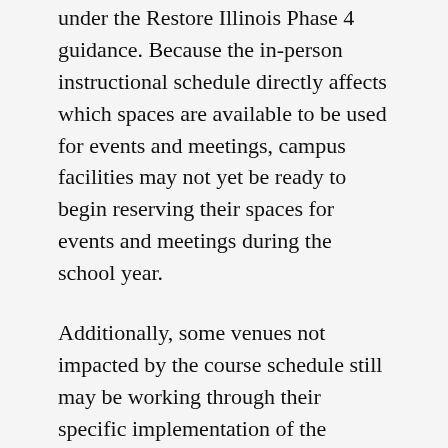under the Restore Illinois Phase 4 guidance. Because the in-person instructional schedule directly affects which spaces are available to be used for events and meetings, campus facilities may not yet be ready to begin reserving their spaces for events and meetings during the school year.
Additionally, some venues not impacted by the course schedule still may be working through their specific implementation of the Restore Illinois Phase 4 guidance before allowing space reservations to be made. This includes the new regional approach announced on July 15 by Governor Pritzker (pdf download).
We ask that Campus Units interested in reserving space for an in-person event or meeting during Welcome Week or the school year, please consult